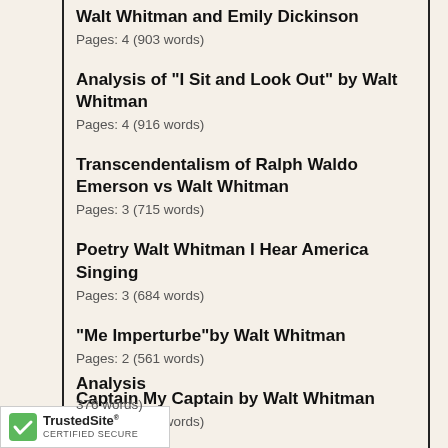Walt Whitman and Emily Dickinson
Pages: 4 (903 words)
Analysis of "I Sit and Look Out" by Walt Whitman
Pages: 4 (916 words)
Transcendentalism of Ralph Waldo Emerson vs Walt Whitman
Pages: 3 (715 words)
Poetry Walt Whitman I Hear America Singing
Pages: 3 (684 words)
"Me Imperturbe"by Walt Whitman
Pages: 2 (561 words)
Captain My Captain by Walt Whitman
Pages: 2 (301 words)
Walt Whitman's Crossing the Brooklyn Ferry Analysis
Pages: (376 words)